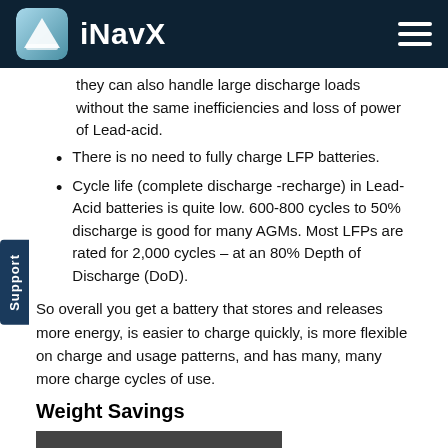iNavX
they can also handle large discharge loads without the same inefficiencies and loss of power of Lead-acid.
There is no need to fully charge LFP batteries.
Cycle life (complete discharge -recharge) in Lead-Acid batteries is quite low. 600-800 cycles to 50% discharge is good for many AGMs. Most LFPs are rated for 2,000 cycles – at an 80% Depth of Discharge (DoD).
So overall you get a battery that stores and releases more energy, is easier to charge quickly, is more flexible on charge and usage patterns, and has many, many more charge cycles of use.
Weight Savings
[Figure (photo): Black and white image with large white text 'NEEDS MORE' and a person below it]